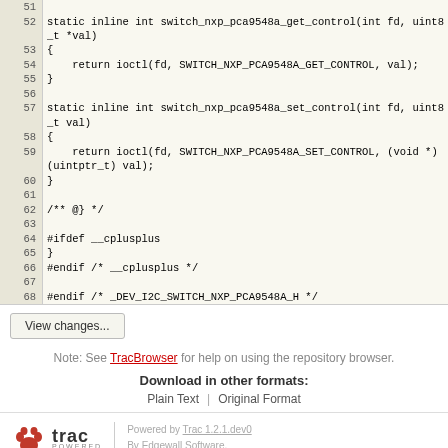[Figure (screenshot): Source code viewer showing lines 51–68 of a C header file for NXP PCA9548A I2C switch driver, with line numbers on the left and code on the right.]
View changes...
Note: See TracBrowser for help on using the repository browser.
Download in other formats:
Plain Text | Original Format
Powered by Trac 1.2.1.dev0
By Edgewall Software.